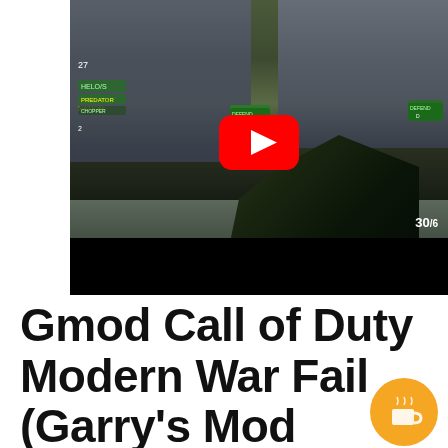[Figure (screenshot): YouTube video thumbnail showing a first-person shooter game (Call of Duty / Gmod) with a YouTube play button overlay. The game screenshot shows a military environment with buildings, a gun being held in first-person view, green HUD shield icons, ammo counter '30/6' in bottom right, and 'NATION' text on the left. A black bar appears at the bottom of the thumbnail.]
Gmod Call of Duty Modern War Fail (Garry's Mod Sandbox Funny Moments)